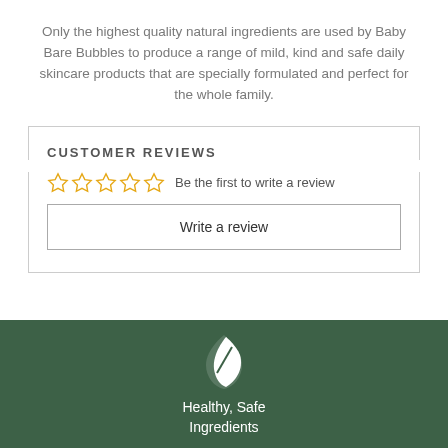Only the highest quality natural ingredients are used by Baby Bare Bubbles to produce a range of mild, kind and safe daily skincare products that are specially formulated and perfect for the whole family.
CUSTOMER REVIEWS
[Figure (other): Five empty star rating icons in orange/yellow outline, representing zero stars rating.]
Be the first to write a review
Write a review
[Figure (logo): White leaf icon with text 'Healthy, Safe Ingredients' on a dark green background.]